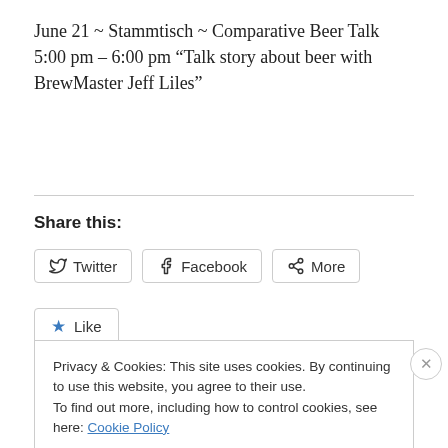June 21 ~ Stammtisch ~ Comparative Beer Talk 5:00 pm – 6:00 pm “Talk story about beer with BrewMaster Jeff Liles”
Share this:
Twitter | Facebook | More
Like
Privacy & Cookies: This site uses cookies. By continuing to use this website, you agree to their use.
To find out more, including how to control cookies, see here: Cookie Policy
Close and accept